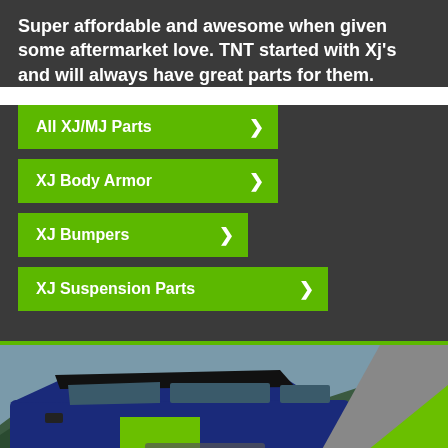Super affordable and awesome when given some aftermarket love. TNT started with Xj's and will always have great parts for them.
All XJ/MJ Parts ❯
XJ Body Armor ❯
XJ Bumpers ❯
XJ Suspension Parts ❯
[Figure (photo): A blue and neon green off-road Jeep XJ with TNT Customs branding, parked outdoors near trees and a rocky area. The vehicle has aftermarket body armor and modifications.]